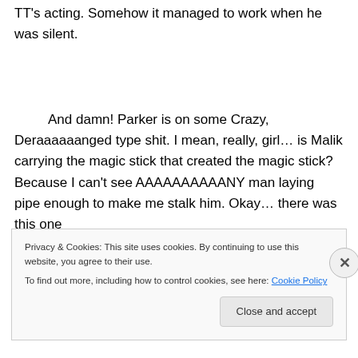TT's acting. Somehow it managed to work when he was silent.
And damn! Parker is on some Crazy, Deraaaaaanged type shit. I mean, really, girl… is Malik carrying the magic stick that created the magic stick? Because I can't see AAAAAAAAAANY man laying pipe enough to make me stalk him. Okay… there was this one
Privacy & Cookies: This site uses cookies. By continuing to use this website, you agree to their use.
To find out more, including how to control cookies, see here: Cookie Policy
Close and accept